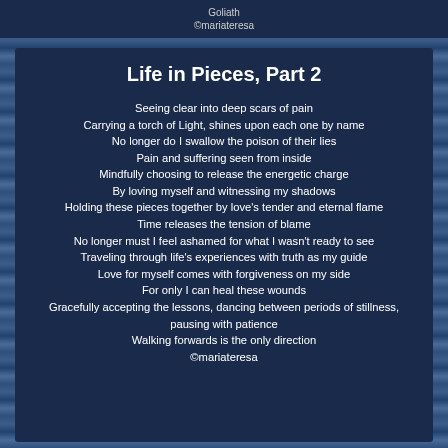Goliath
©mariateresa
Life in Pieces, Part 2
Seeing clear into deep scars of pain
Carrying a torch of Light, shines upon each one by name
No longer do I swallow the poison of their lies
Pain and suffering seen from inside
Mindfully choosing to release the energetic charge
By loving myself and witnessing my shadows
Holding these pieces together by love's tender and eternal flame
Time releases the tension of blame
No longer must I feel ashamed for what I wasn't ready to see
Traveling through life's experiences with truth as my guide
Love for myself comes with forgiveness on my side
For only I can heal these wounds
Gracefully accepting the lessons, dancing between periods of stillness, pausing with patience
Walking forwards is the only direction
©mariateresa